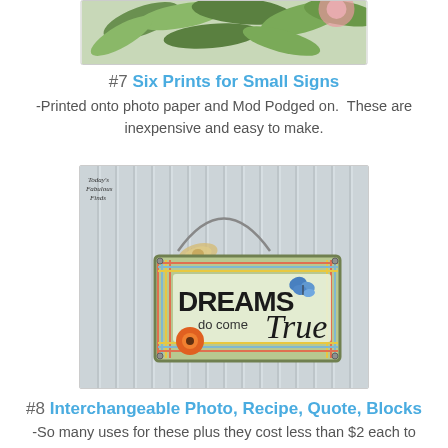[Figure (photo): Partial photo showing green leaves and floral arrangement at the top of the page, cut off]
#7 Six Prints for Small Signs
-Printed onto photo paper and Mod Podged on.  These are inexpensive and easy to make.
[Figure (photo): A decorative wood sign reading 'DREAMS do come True' with a wire hanger, raffia bow, orange flower and blue butterfly, displayed on a beadboard background. A 'Today's Fabulous Finds' watermark is in the top left corner.]
#8 Interchangeable Photo, Recipe, Quote, Blocks
-So many uses for these plus they cost less than $2 each to